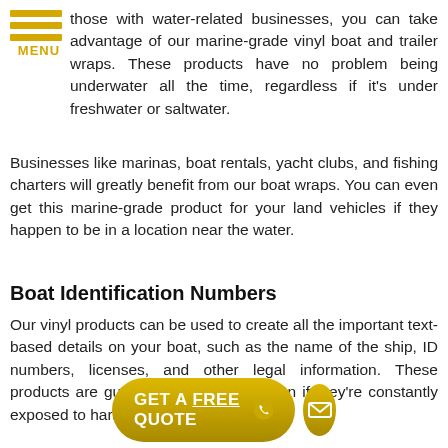MENU
those with water-related businesses, you can take advantage of our marine-grade vinyl boat and trailer wraps. These products have no problem being underwater all the time, regardless if it's under freshwater or saltwater.
Businesses like marinas, boat rentals, yacht clubs, and fishing charters will greatly benefit from our boat wraps. You can even get this marine-grade product for your land vehicles if they happen to be in a location near the water.
Boat Identification Numbers
Our vinyl products can be used to create all the important text-based details on your boat, such as the name of the ship, ID numbers, licenses, and other legal information. These products are guaranteed to survive even if they're constantly exposed to harsh weather conditions.
[Figure (other): GET A FREE QUOTE button with phone icon and mail icon in yellow/gold color scheme]